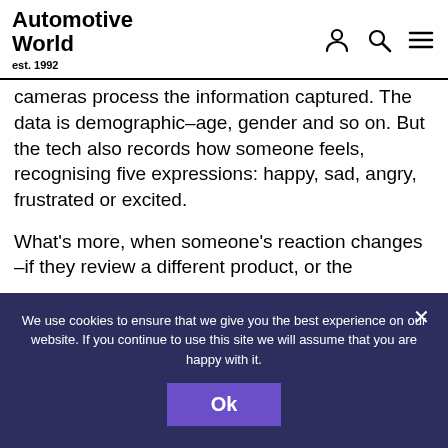Automotive World est. 1992
cameras process the information captured. The data is demographic–age, gender and so on. But the tech also records how someone feels, recognising five expressions: happy, sad, angry, frustrated or excited.
What's more, when someone's reaction changes –if they review a different product, or the background or floor of the exhibition space
We use cookies to ensure that we give you the best experience on our website. If you continue to use this site we will assume that you are happy with it.